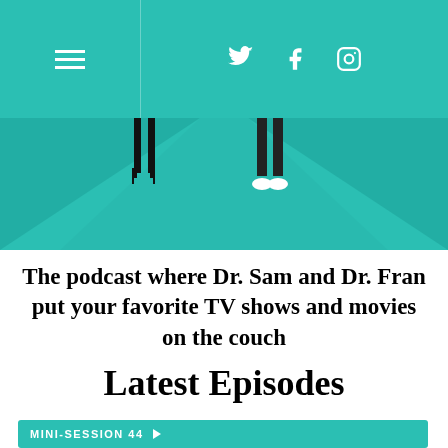Navigation bar with hamburger menu and social icons (Twitter, Facebook, Instagram)
[Figure (illustration): Hero image showing two pairs of feet/legs on a teal geometric surface — one wearing heels, one wearing sneakers — suggesting a therapy or conversation setting]
The podcast where Dr. Sam and Dr. Fran put your favorite TV shows and movies on the couch
Latest Episodes
MINI-SESSION 44 ▶